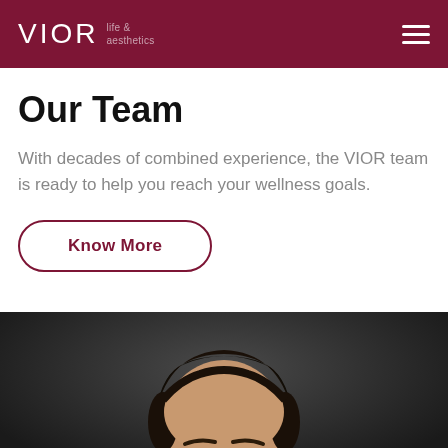VIOR life & aesthetics
Our Team
With decades of combined experience, the VIOR team is ready to help you reach your wellness goals.
Know More
[Figure (photo): Professional headshot portrait of a man with dark hair against a dark background, cropped at forehead/brow level]